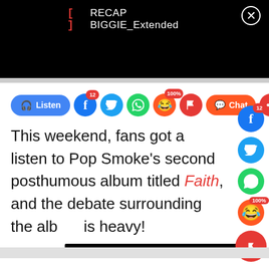[Figure (screenshot): Video player header bar showing bracket icon, 'RECAP BIGGIE_Extended' title, and close button on black background]
[Figure (screenshot): Social sharing bar with Listen button, Facebook (12), Twitter, WhatsApp, laugh emoji (100%), flag, Chat, share, headphone icons]
This weekend, fans got a listen to Pop Smoke's second posthumous album titled Faith, and the debate surrounding the alb is heavy!
[Figure (other): Floating right sidebar with Facebook (12), Twitter, WhatsApp, laugh emoji (100%), and flag/comment icons]
[Figure (other): Redacted black bar at bottom of content]